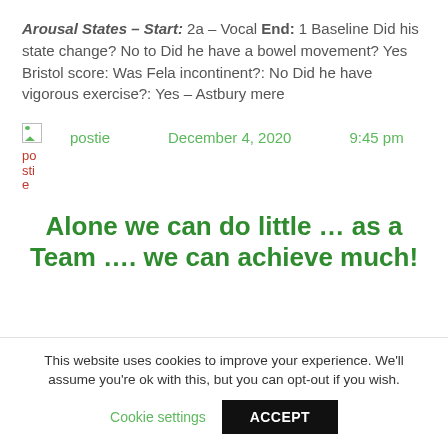Arousal States – Start: 2a – Vocal End: 1 Baseline Did his state change? No to Did he have a bowel movement? Yes Bristol score: Was Fela incontinent?: No Did he have vigorous exercise?: Yes – Astbury mere
postie   December 4, 2020   9:45 pm
Alone we can do little … as a Team …. we can achieve much!
This website uses cookies to improve your experience. We'll assume you're ok with this, but you can opt-out if you wish.
Cookie settings   ACCEPT